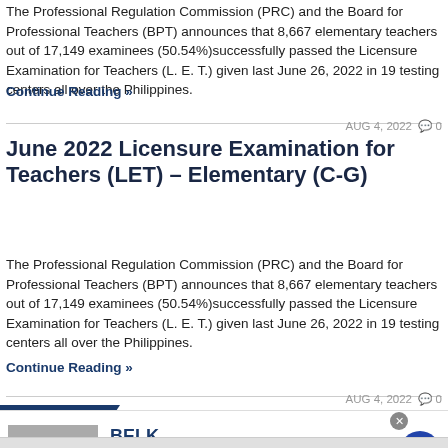The Professional Regulation Commission (PRC) and the Board for Professional Teachers (BPT) announces that 8,667 elementary teachers out of 17,149 examinees (50.54%)successfully passed the Licensure Examination for Teachers (L. E. T.) given last June 26, 2022 in 19 testing centers all over the Philippines.
Continue Reading »
AUG 4, 2022 · 🗨 0
June 2022 Licensure Examination for Teachers (LET) – Elementary (C-G)
The Professional Regulation Commission (PRC) and the Board for Professional Teachers (BPT) announces that 8,667 elementary teachers out of 17,149 examinees (50.54%)successfully passed the Licensure Examination for Teachers (L. E. T.) given last June 26, 2022 in 19 testing centers all over the Philippines.
Continue Reading »
AUG 4, 2022 · 🗨 0
[Figure (other): Infolinks advertisement banner showing BELK brand: 'Denim all day. www.belk.com' with a blue circular arrow button and close button]